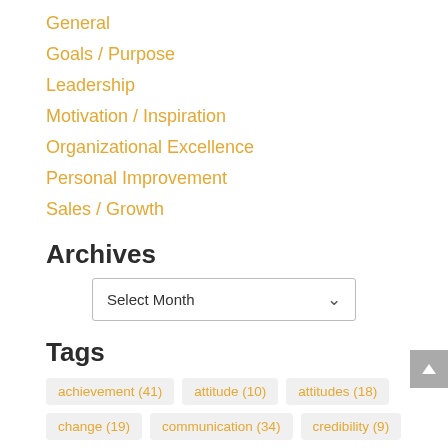General
Goals / Purpose
Leadership
Motivation / Inspiration
Organizational Excellence
Personal Improvement
Sales / Growth
Archives
Select Month
Tags
achievement (41)  attitude (10)  attitudes (18)  change (19)  communication (34)  credibility (9)  customer loyalty (16)  customer satisfaction (14)